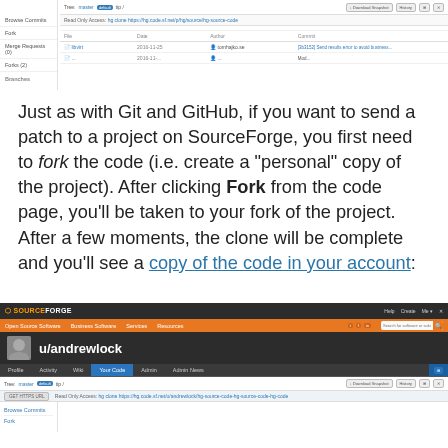[Figure (screenshot): SourceForge repository page screenshot showing sidebar with Browse Commits, Fork, Merge Requests, Forks, Branches links, and main area with file listing table showing columns File, Date, Author, Commit]
Just as with Git and GitHub, if you want to send a patch to a project on SourceForge, you first need to fork the code (i.e. create a "personal" copy of the project). After clicking Fork from the code page, you'll be taken to your fork of the project. After a few moments, the clone will be complete and you'll see a copy of the code in your account:
[Figure (screenshot): SourceForge user profile page for u/andrewlock showing dark header with orange navigation bar, user avatar, username, and tabs for Profile, Activity, Wiki, Your Code, Admin, Admin News. Below shows repository code view with Browse Commits and Fork sidebar links.]